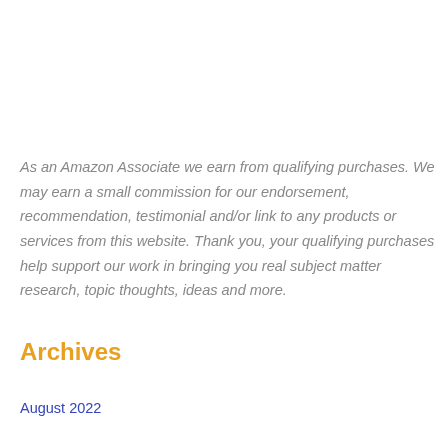As an Amazon Associate we earn from qualifying purchases. We may earn a small commission for our endorsement, recommendation, testimonial and/or link to any products or services from this website. Thank you, your qualifying purchases help support our work in bringing you real subject matter research, topic thoughts, ideas and more.
Archives
August 2022